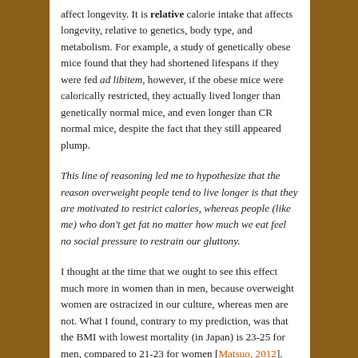affect longevity. It is relative calorie intake that affects longevity, relative to genetics, body type, and metabolism. For example, a study of genetically obese mice found that they had shortened lifespans if they were fed ad libitem, however, if the obese mice were calorically restricted, they actually lived longer than genetically normal mice, and even longer than CR normal mice, despite the fact that they still appeared plump.
This line of reasoning led me to hypothesize that the reason overweight people tend to live longer is that they are motivated to restrict calories, whereas people (like me) who don't get fat no matter how much we eat feel no social pressure to restrain our gluttony.
I thought at the time that we ought to see this effect much more in women than in men, because overweight women are ostracized in our culture, whereas men are not. What I found, contrary to my prediction, was that the BMI with lowest mortality (in Japan) is 23-25 for men, compared to 21-23 for women [Matsuo, 2012].